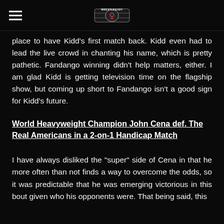WrestleDady [logo]
place to have Kidd's first match back. Kidd even had to lead the live crowd in chanting his name, which is pretty pathetic. Fandango winning didn't help matters, either. I am glad Kidd is getting television time on the flagship show, but coming up short to Fandango isn't a good sign for Kidd's future.
World Heavyweight Champion John Cena def. The Real Americans in a 2-on-1 Handicap Match
I have always disliked the "super" side of Cena in that he more often than not finds a way to overcome the odds, so it was predictable that he was emerging victorious in this bout given who his opponents were. That being said, this